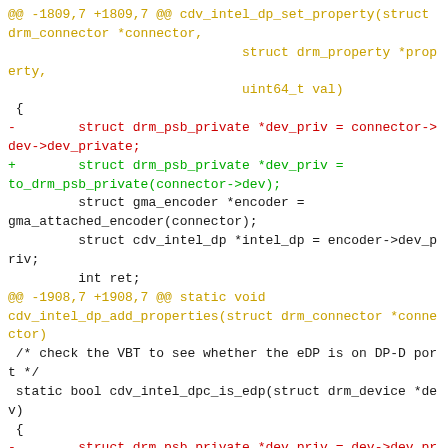[Figure (screenshot): A git diff code snippet showing changes to cdv_intel_dp_set_property and cdv_intel_dp_add_properties functions in a Linux DRM driver. Red lines show removed code using connector->dev->dev_private and dev->dev_private, green lines show added code using to_drm_psb_private() accessor functions. Also includes a diff header for cdv_intel_lvds.c.]